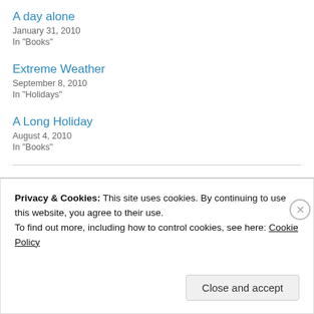A day alone
January 31, 2010
In "Books"
Extreme Weather
September 8, 2010
In "Holidays"
A Long Holiday
August 4, 2010
In "Books"
August 29, 2010
💬 Leave a Reply
Privacy & Cookies: This site uses cookies. By continuing to use this website, you agree to their use. To find out more, including how to control cookies, see here: Cookie Policy
Close and accept